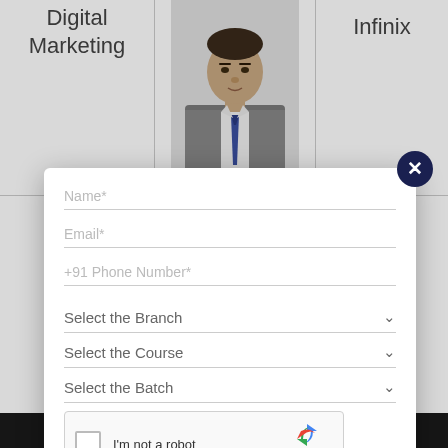Digital Marketing
[Figure (photo): Headshot photo of a man in a grey suit with a blue tie]
Infinix
[Figure (screenshot): Modal dialog form with fields: Name*, Email*, +91 Phone Number*, Select the Branch dropdown, Select the Course dropdown, Select the Batch dropdown, and a reCAPTCHA widget with I'm not a robot checkbox. Close button (X) in dark blue circle at top right.]
Name*
Email*
+91 Phone Number*
Select the Branch
Select the Course
Select the Batch
I'm not a robot
reCAPTCHA
Privacy - Terms